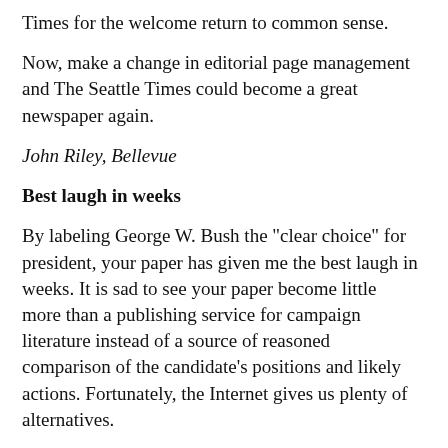Times for the welcome return to common sense.
Now, make a change in editorial page management and The Seattle Times could become a great newspaper again.
John Riley, Bellevue
Best laugh in weeks
By labeling George W. Bush the "clear choice" for president, your paper has given me the best laugh in weeks. It is sad to see your paper become little more than a publishing service for campaign literature instead of a source of reasoned comparison of the candidate's positions and likely actions. Fortunately, the Internet gives us plenty of alternatives.
Randy Winn, Mercer Island